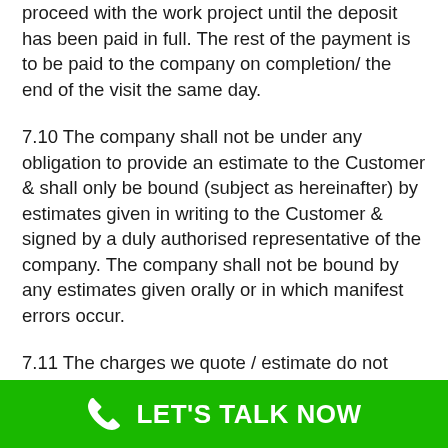proceed with the work project until the deposit has been paid in full. The rest of the payment is to be paid to the company on completion/ the end of the visit the same day.
7.10 The company shall not be under any obligation to provide an estimate to the Customer & shall only be bound (subject as hereinafter) by estimates given in writing to the Customer & signed by a duly authorised representative of the company. The company shall not be bound by any estimates given orally or in which manifest errors occur.
7.11 The charges we quote / estimate do not include
LET'S TALK NOW